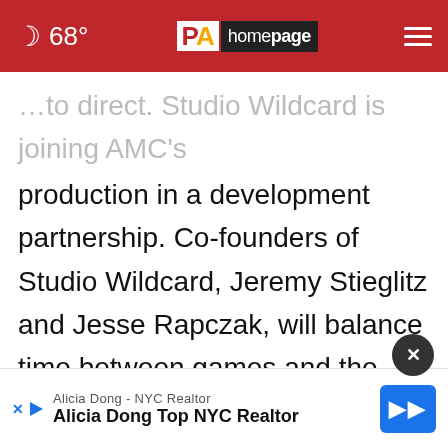68° PA homepage
...to direct. Studio Wildcard is joining AMC's production in a development partnership. Co-founders of Studio Wildcard, Jeremy Stieglitz and Jesse Rapczak, will balance time between games and the transmedia expansion of the ARK franchise, with Stieglitz focusing creative efforts on the TV series and other initiatives, whilst continuing to serve as Executive Producer of ARK 2. Rapczak will continue as Creative Director of ARK 2 and co-creator of the series...